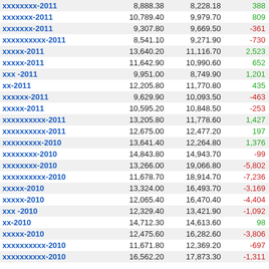|  |  |  |  |
| --- | --- | --- | --- |
| xxxxxxxx-2011 | 8,888.38 | 8,228.18 | 388 |
| xxxxxxx-2011 | 10,789.40 | 9,979.70 | 809 |
| xxxxxxx-2011 | 9,307.80 | 9,669.50 | -361 |
| xxxxxxxxxx-2011 | 8,541.10 | 9,271.90 | -730 |
| xxxxx-2011 | 13,640.20 | 11,116.70 | 2,523 |
| xxxxx-2011 | 11,642.90 | 10,990.60 | 652 |
| xxx -2011 | 9,951.00 | 8,749.90 | 1,201 |
| xx-2011 | 12,205.80 | 11,770.80 | 435 |
| xxxxxx-2011 | 9,629.90 | 10,093.50 | -463 |
| xxxxx-2011 | 10,595.20 | 10,848.50 | -253 |
| xxxxxxxxxx-2011 | 13,205.80 | 11,778.60 | 1,427 |
| xxxxxxxxxx-2011 | 12,675.00 | 12,477.20 | 197 |
| xxxxxxxxx-2010 | 13,641.40 | 12,264.80 | 1,376 |
| xxxxxxxx-2010 | 14,843.80 | 14,943.70 | -99 |
| xxxxxxxx-2010 | 13,266.00 | 19,066.80 | -5,802 |
| xxxxxxxxxx-2010 | 11,678.70 | 18,914.70 | -7,236 |
| xxxxx-2010 | 13,324.00 | 16,493.70 | -3,169 |
| xxxxx-2010 | 12,065.40 | 16,470.40 | -4,404 |
| xxx -2010 | 12,329.40 | 13,421.90 | -1,092 |
| xx-2010 | 14,712.30 | 14,613.60 | 98 |
| xxxxx-2010 | 12,475.60 | 16,282.60 | -3,806 |
| xxxxxxxxxx-2010 | 11,671.80 | 12,369.20 | -697 |
| xxxxxxxxxx-2010 | 16,562.20 | 17,873.30 | -1,311 |